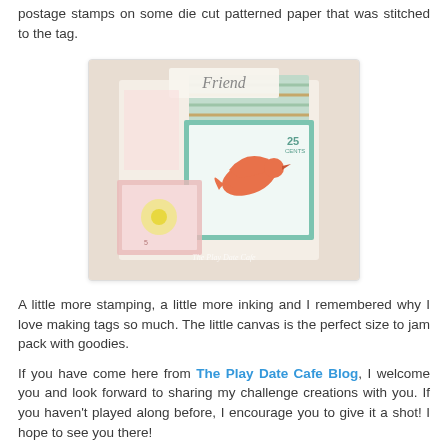postage stamps on some die cut patterned paper that was stitched to the tag.
[Figure (photo): A close-up photo of handmade craft tags decorated with postage-stamp style embellishments, featuring a coral/orange bird silhouette, striped patterned paper, pastel pink and yellow die-cut flowers, and the word 'Friend' at the top. Watermark reads 'The Play Date Cafe'.]
A little more stamping, a little more inking and I remembered why I love making tags so much. The little canvas is the perfect size to jam pack with goodies.
If you have come here from The Play Date Cafe Blog, I welcome you and look forward to sharing my challenge creations with you. If you haven't played along before, I encourage you to give it a shot! I hope to see you there!